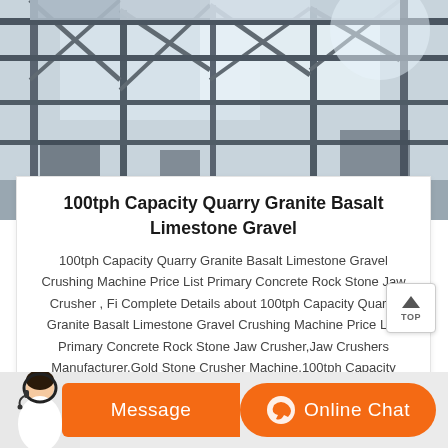[Figure (photo): Industrial steel structure / factory interior with metal beams and scaffolding, viewed from below at an angle, bright sky visible through the metal framework.]
100tph Capacity Quarry Granite Basalt Limestone Gravel
100tph Capacity Quarry Granite Basalt Limestone Gravel Crushing Machine Price List Primary Concrete Rock Stone Jaw Crusher , Fi Complete Details about 100tph Capacity Quarry Granite Basalt Limestone Gravel Crushing Machine Price List Primary Concrete Rock Stone Jaw Crusher,Jaw Crushers Manufacturer,Gold Stone Crusher Machine,100tph Capacity Mining
Message   Online Chat